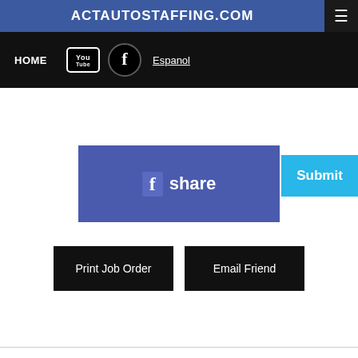ACTAUTOSTAFFING.COM
HOME
Espanol
Submit
f share
Print Job Order
Email Friend